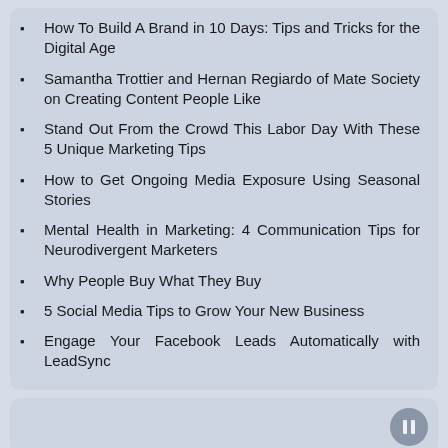How To Build A Brand in 10 Days: Tips and Tricks for the Digital Age
Samantha Trottier and Hernan Regiardo of Mate Society on Creating Content People Like
Stand Out From the Crowd This Labor Day With These 5 Unique Marketing Tips
How to Get Ongoing Media Exposure Using Seasonal Stories
Mental Health in Marketing: 4 Communication Tips for Neurodivergent Marketers
Why People Buy What They Buy
5 Social Media Tips to Grow Your New Business
Engage Your Facebook Leads Automatically with LeadSync